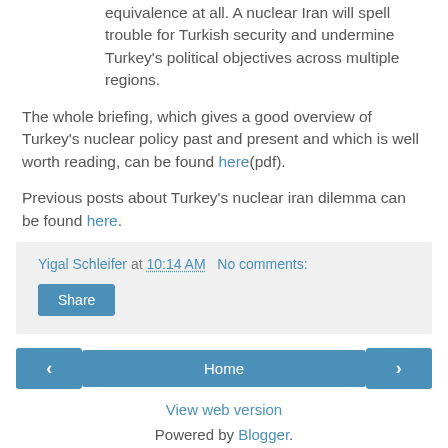equivalence at all. A nuclear Iran will spell trouble for Turkish security and undermine Turkey's political objectives across multiple regions.
The whole briefing, which gives a good overview of Turkey's nuclear policy past and present and which is well worth reading, can be found here(pdf).
Previous posts about Turkey's nuclear iran dilemma can be found here.
Yigal Schleifer at 10:14 AM   No comments:
Share
‹
Home
›
View web version
Powered by Blogger.